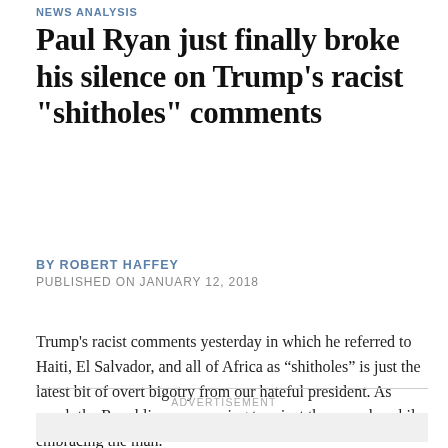NEWS ANALYSIS
Paul Ryan just finally broke his silence on Trump's racist "shitholes" comments
BY ROBERT HAFFEY
PUBLISHED ON JANUARY 12, 2018
Trump’s racist comments yesterday in which he referred to Haiti, El Salvador, and all of Africa as “shitholes” is just the latest bit of overt bigotry from our hateful president. As usual, the Republicans are racing to reject the remarks while embracing the man.
ADVERTISEMENT